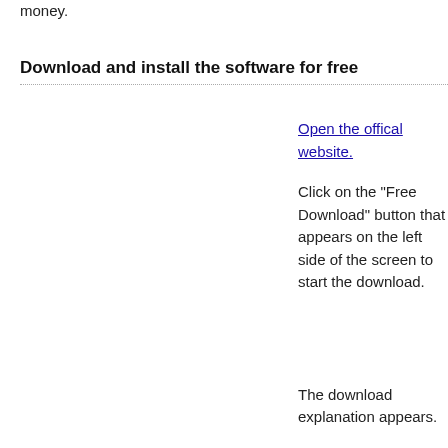money.
Download and install the software for free
Open the offical website.
Click on the "Free Download" button that appears on the left side of the screen to start the download.
The download explanation appears.
If your web-browser is set to block popups, you need to disable it and click on the link on the website again.